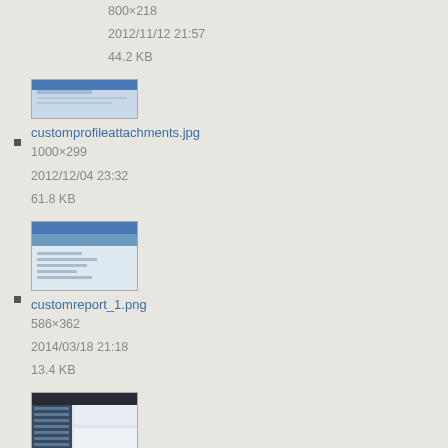800×218
2012/11/12 21:57
44.2 KB
customprofileattachments.jpg
1000×299
2012/12/04 23:32
61.8 KB
customreport_1.png
586×362
2014/03/18 21:18
13.4 KB
dashboard.png
1399×758
2019/04/30 23:33